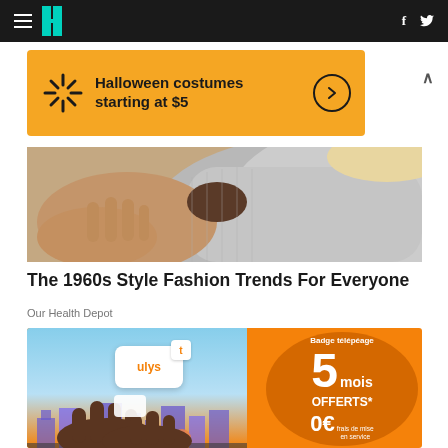HuffPost navigation with hamburger menu, logo, Facebook and Twitter icons
[Figure (infographic): Orange Walmart advertisement banner: Halloween costumes starting at $5 with arrow button]
[Figure (photo): Close-up photo of person wearing a grey knit turtleneck sweater, touching the collar]
The 1960s Style Fashion Trends For Everyone
Our Health Depot
[Figure (infographic): Orange Ulys telepeage advertisement: Badge telepéage, 5 mois OFFERTS*, 0€ frais de mise en service]